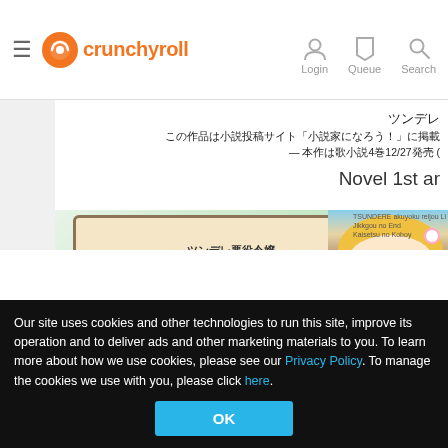crunchyroll — Login Queue Search
[Figure (screenshot): Crunchyroll website screenshot showing Japanese manga/novel content page with anime cover art featuring a blonde female character]
Our site uses cookies and other technologies to run this site, improve its operation and to deliver ads and other marketing materials to you. To learn more about how we use cookies, please see our Privacy Policy. To manage the cookies we use with you, please click here.
OK